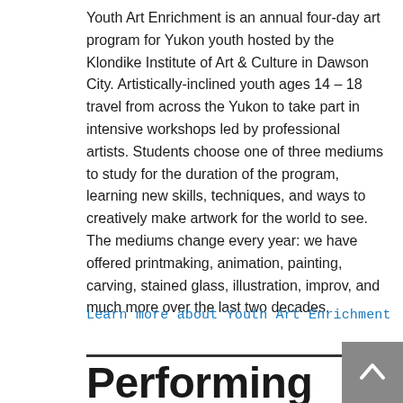Youth Art Enrichment is an annual four-day art program for Yukon youth hosted by the Klondike Institute of Art & Culture in Dawson City. Artistically-inclined youth ages 14 – 18 travel from across the Yukon to take part in intensive workshops led by professional artists. Students choose one of three mediums to study for the duration of the program, learning new skills, techniques, and ways to creatively make artwork for the world to see. The mediums change every year: we have offered printmaking, animation, painting, carving, stained glass, illustration, improv, and much more over the last two decades.
Learn more about Youth Art Enrichment
Performing Arts